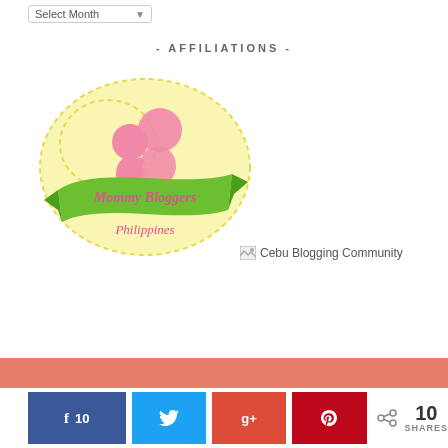[Figure (other): Select Month dropdown widget at top left]
- AFFILIATIONS -
[Figure (logo): Mommy Bloggers Philippines logo — yellow heart shape with dashed border, pink mother and child figures, green ribbon banner with text 'Mommy Bloggers Philippines' in pink handwritten font]
[Figure (other): Broken image placeholder labeled 'Cebu Blogging Community']
[Figure (other): Salmon/coral colored footer bar]
[Figure (infographic): Social sharing bar with Facebook (10), Twitter, Google+, Pinterest buttons and total 10 SHARES count]